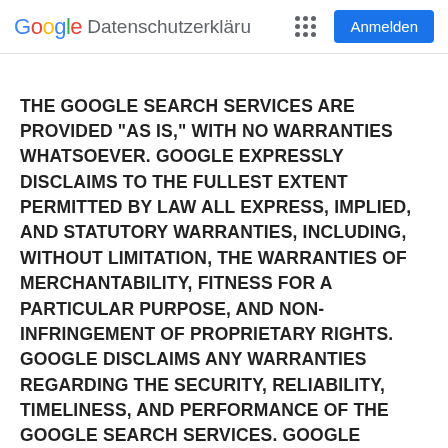Google Datenschutzerklärung  [dots]  Anmelden
THE GOOGLE SEARCH SERVICES ARE PROVIDED "AS IS," WITH NO WARRANTIES WHATSOEVER. GOOGLE EXPRESSLY DISCLAIMS TO THE FULLEST EXTENT PERMITTED BY LAW ALL EXPRESS, IMPLIED, AND STATUTORY WARRANTIES, INCLUDING, WITHOUT LIMITATION, THE WARRANTIES OF MERCHANTABILITY, FITNESS FOR A PARTICULAR PURPOSE, AND NON-INFRINGEMENT OF PROPRIETARY RIGHTS. GOOGLE DISCLAIMS ANY WARRANTIES REGARDING THE SECURITY, RELIABILITY, TIMELINESS, AND PERFORMANCE OF THE GOOGLE SEARCH SERVICES. GOOGLE DISCLAIMS, ANY WARRANTIES FOR ANY INFORMATION OR ADVICE OBTAINED THROUGH THE GOOGLE SEARCH SERVICES. GOOGLE DISCLAIMS ANY WARRANTIES FOR SERVICES OR GOODS RECEIVED THROUGH OR ADVERTISED ON THE GOOGLE SEARCH SERVICES OR RECEIVED THROUGH ANY LINKS